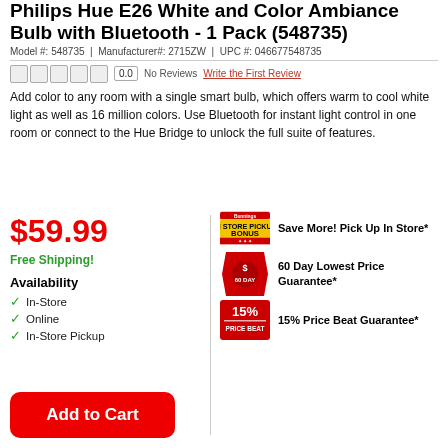Philips Hue E26 White and Color Ambiance Bulb with Bluetooth - 1 Pack (548735)
Model #: 548735 | Manufacturer#: 2715ZW | UPC #: 046677548735
0.0  No Reviews  Write the First Review
Add color to any room with a single smart bulb, which offers warm to cool white light as well as 16 million colors. Use Bluetooth for instant light control in one room or connect to the Hue Bridge to unlock the full suite of features.
$59.99
Free Shipping!
Availability
In-Store
Online
In-Store Pickup
[Figure (other): In-store pickup bonus badge icon]
Save More! Pick Up In Store*
[Figure (other): 60 Day Lowest Price Guarantee icon (red tag with dollar sign)]
60 Day Lowest Price Guarantee*
[Figure (other): 15% Price Beat Guarantee badge]
15% Price Beat Guarantee*
Add to Cart